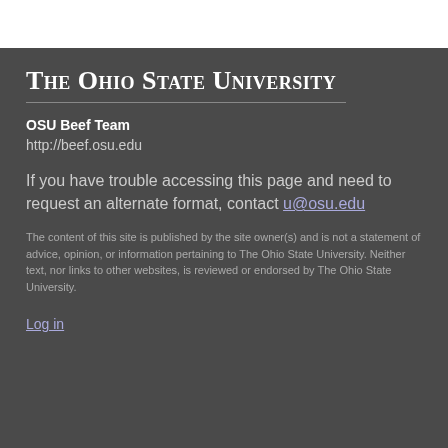The Ohio State University
OSU Beef Team
http://beef.osu.edu
If you have trouble accessing this page and need to request an alternate format, contact u@osu.edu
The content of this site is published by the site owner(s) and is not a statement of advice, opinion, or information pertaining to The Ohio State University. Neither text, nor links to other websites, is reviewed or endorsed by The Ohio State University.
Log in